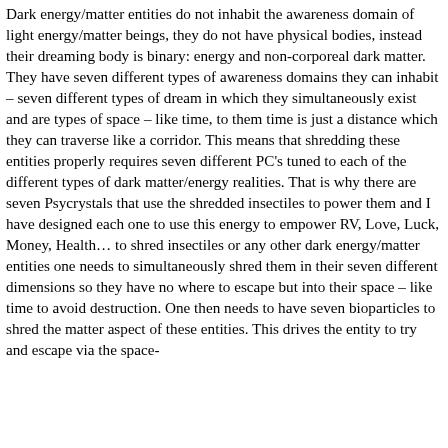Dark energy/matter entities do not inhabit the awareness domain of light energy/matter beings, they do not have physical bodies, instead their dreaming body is binary: energy and non-corporeal dark matter. They have seven different types of awareness domains they can inhabit – seven different types of dream in which they simultaneously exist and are types of space – like time, to them time is just a distance which they can traverse like a corridor. This means that shredding these entities properly requires seven different PC's tuned to each of the different types of dark matter/energy realities. That is why there are seven Psycrystals that use the shredded insectiles to power them and I have designed each one to use this energy to empower RV, Love, Luck, Money, Health… to shred insectiles or any other dark energy/matter entities one needs to simultaneously shred them in their seven different dimensions so they have no where to escape but into their space – like time to avoid destruction. One then needs to have seven bioparticles to shred the matter aspect of these entities. This drives the entity to try and escape via the space-